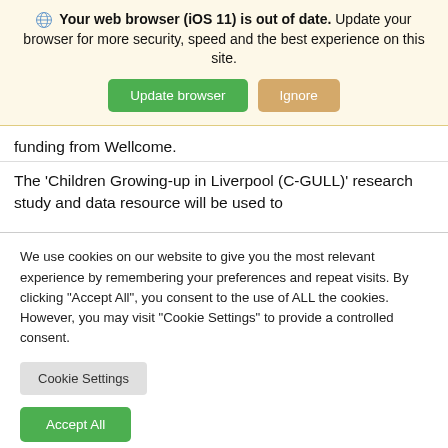🌐 Your web browser (iOS 11) is out of date. Update your browser for more security, speed and the best experience on this site.
Update browser | Ignore
funding from Wellcome.
The 'Children Growing-up in Liverpool (C-GULL)' research study and data resource will be used to
We use cookies on our website to give you the most relevant experience by remembering your preferences and repeat visits. By clicking "Accept All", you consent to the use of ALL the cookies. However, you may visit "Cookie Settings" to provide a controlled consent.
Cookie Settings
Accept All